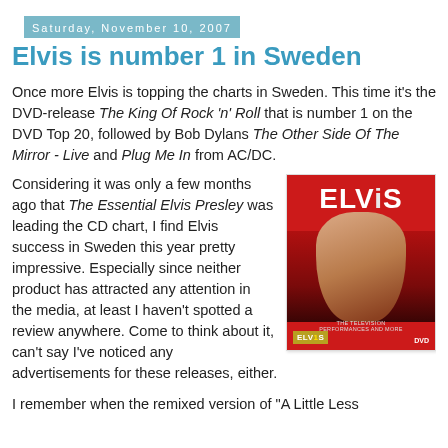Saturday, November 10, 2007
Elvis is number 1 in Sweden
Once more Elvis is topping the charts in Sweden. This time it's the DVD-release The King Of Rock 'n' Roll that is number 1 on the DVD Top 20, followed by Bob Dylans The Other Side Of The Mirror - Live and Plug Me In from AC/DC.
Considering it was only a few months ago that The Essential Elvis Presley was leading the CD chart, I find Elvis success in Sweden this year pretty impressive. Especially since neither product has attracted any attention in the media, at least I haven't spotted a review anywhere. Come to think about it, can't say I've noticed any advertisements for these releases, either.
[Figure (photo): Album cover for Elvis - The King Of Rock 'n' Roll DVD, showing Elvis Presley's face on a red background with white ELVIS text at top]
I remember when the remixed version of "A Little Less